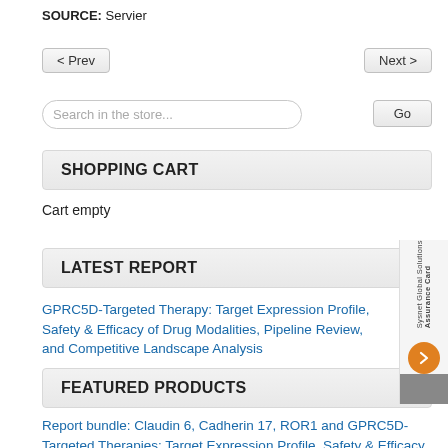SOURCE: Servier
< Prev    Next >
Search in the store...    Go
SHOPPING CART
Cart empty
LATEST REPORT
GPRC5D-Targeted Therapy: Target Expression Profile, Safety & Efficacy of Drug Modalities, Pipeline Review, and Competitive Landscape Analysis
FEATURED PRODUCTS
Report bundle: Claudin 6, Cadherin 17, ROR1 and GPRC5D-Targeted Therapies: Target Expression Profile, Safety & Efficacy of Drug Modalities, Pipeline Review, and Competitive Landscape Analysis